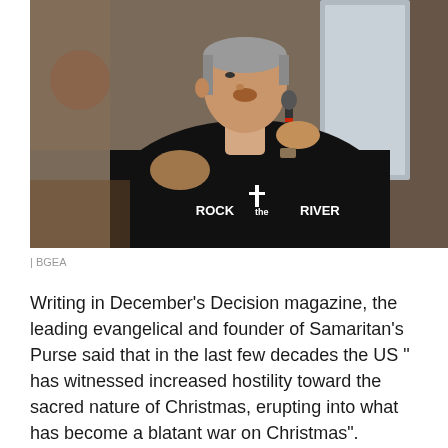[Figure (photo): A man in a black 'Rock the River' t-shirt speaking into a microphone at an outdoor event, photographed from a low angle against a blurred background.]
| BGEA
Writing in December's Decision magazine, the leading evangelical and founder of Samaritan's Purse said that in the last few decades the US " has witnessed increased hostility toward the sacred nature of Christmas, erupting into what has become a blatant war on Christmas".